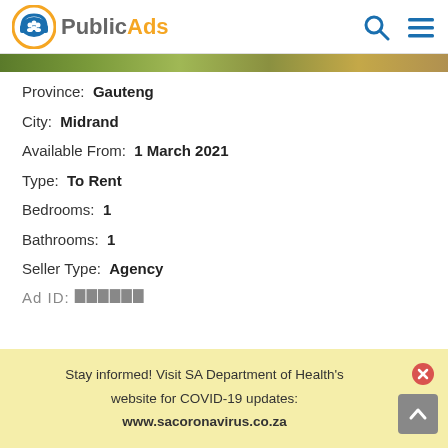PublicAds
[Figure (screenshot): PublicAds website header with logo (headphones icon with people silhouettes, orange/blue text), search icon, and hamburger menu icon]
Province: Gauteng
City: Midrand
Available From: 1 March 2021
Type: To Rent
Bedrooms: 1
Bathrooms: 1
Seller Type: Agency
Stay informed! Visit SA Department of Health's website for COVID-19 updates: www.sacoronavirus.co.za